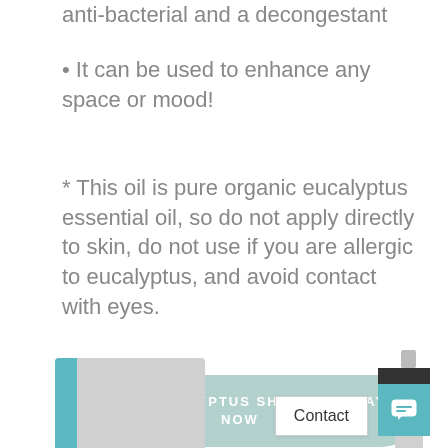anti-bacterial and a decongestant
• It can be used to enhance any space or mood!
* This oil is pure organic eucalyptus essential oil, so do not apply directly to skin, do not use if you are allergic to eucalyptus, and avoid contact with eyes.
SHOP EUCALYPTUS SHOWER SPRAY NOW
[Figure (photo): Product images of eucalyptus shower spray bottles at bottom of page, along with a Contact button and chat widget]